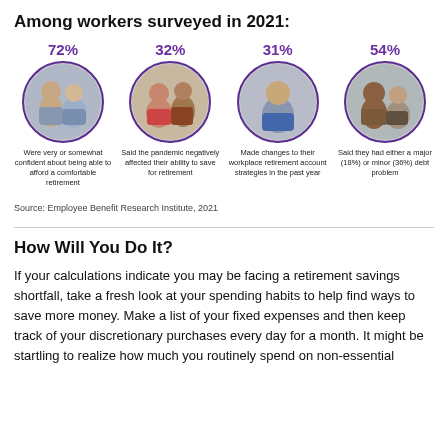Among workers surveyed in 2021:
[Figure (infographic): Four circular photo icons with percentage statistics about workers surveyed in 2021: 72% were very or somewhat confident about being able to afford a comfortable retirement; 32% said the pandemic negatively affected their ability to save for retirement; 31% made changes to their workplace retirement account strategies in the past year; 54% said they had either a major (18%) or minor (36%) debt problem.]
Source: Employee Benefit Research Institute, 2021
How Will You Do It?
If your calculations indicate you may be facing a retirement savings shortfall, take a fresh look at your spending habits to help find ways to save more money. Make a list of your fixed expenses and then keep track of your discretionary purchases every day for a month. It might be startling to realize how much you routinely spend on non-essential